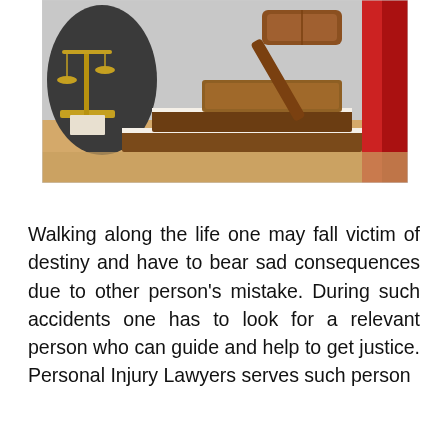[Figure (photo): A legal themed photo showing a wooden judge's gavel resting on a sound block atop two stacked law books, with gold scales of justice in the background left and a red draped flag on the right, all on a wooden surface.]
Walking along the life one may fall victim of destiny and have to bear sad consequences due to other person's mistake. During such accidents one has to look for a relevant person who can guide and help to get justice. Personal Injury Lawyers serves such person